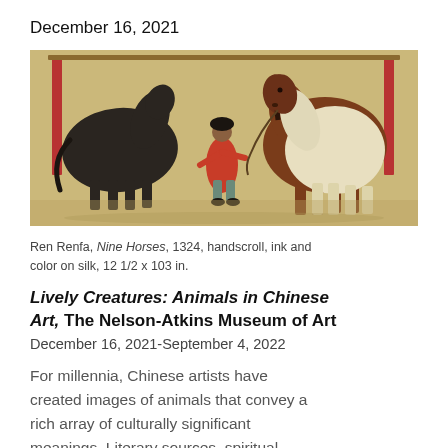December 16, 2021
[Figure (illustration): Chinese painting handscroll section showing a groom in red robe between two large horses (one dark, one white/cream), with red pillar posts, on aged silk background]
Ren Renfa, Nine Horses, 1324, handscroll, ink and color on silk, 12 1/2 x 103 in.
Lively Creatures: Animals in Chinese Art, The Nelson-Atkins Museum of Art
December 16, 2021-September 4, 2022
For millennia, Chinese artists have created images of animals that convey a rich array of culturally significant meanings. Literary sources, spiritual